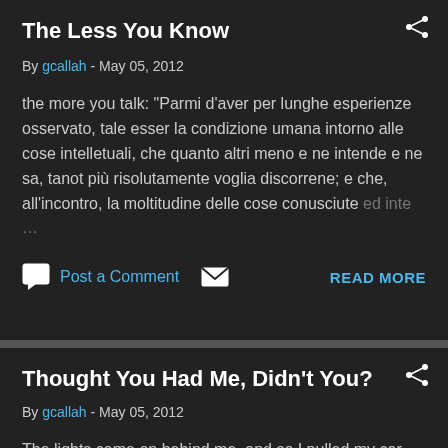The Less You Know
By gcallah - May 05, 2012
the more you talk: "Parmi d'aver per lunghe esperienze osservato, tale esser la condizione umana intorno alle cose intelletuali, che quanto altri meno e ne intende e ne sa, tanot più risolutamente voglia discorrene; e che, all'incontro, la moltitudine delle cose conusciute ed inte …
Post a Comment   READ MORE
Thought You Had Me, Didn't You?
By gcallah - May 05, 2012
The lights came on behind me, and so I pulled my car over to the shoulder. The state trooped sidled up to my window,